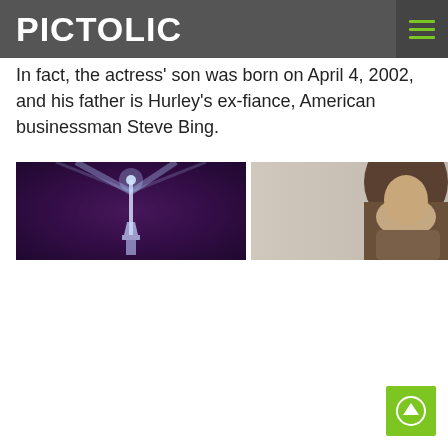PICTOLIC
In fact, the actress' son was born on April 4, 2002, and his father is Hurley's ex-fiance, American businessman Steve Bing.
[Figure (photo): Two side-by-side photos: left shows a dark purple night sky with light beams (possibly Eiffel Tower laser display), right shows a woman with dark hair against a light background.]